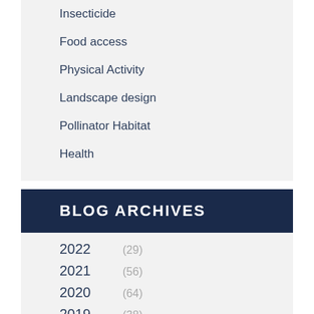Insecticide
Food access
Physical Activity
Landscape design
Pollinator Habitat
Health
BLOG ARCHIVES
2022  (29)
2021  (56)
2020  (64)
2019  (38)
2018  (51)